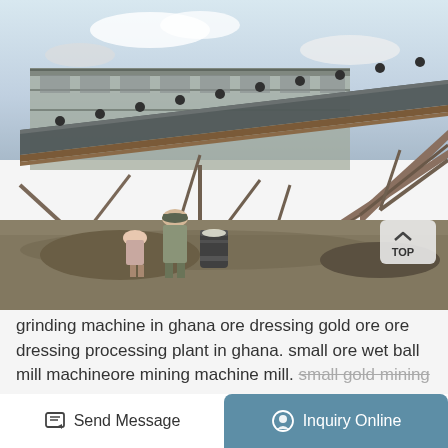[Figure (photo): Outdoor photo of a large industrial conveyor belt / ore dressing machinery structure supported by steel frames, with two workers (one in military-style clothing) standing near a barrel in the foreground. Sandy/rocky terrain, partly cloudy sky.]
grinding machine in ghana ore dressing gold ore ore dressing processing plant in ghana. small ore wet ball mill machineore mining machine mill. small gold mining in ghana for sale. small scale
Send Message
Inquiry Online